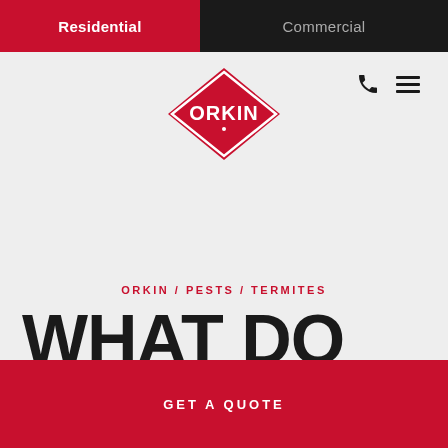Residential | Commercial
[Figure (logo): Orkin red diamond logo with white ORKIN text]
ORKIN / PESTS / TERMITES
WHAT DO TERMITE MUD TUBES LOOK
GET A QUOTE